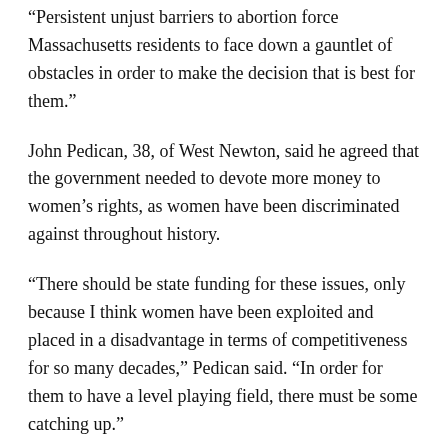“Persistent unjust barriers to abortion force Massachusetts residents to face down a gauntlet of obstacles in order to make the decision that is best for them.”
John Pedican, 38, of West Newton, said he agreed that the government needed to devote more money to women’s rights, as women have been discriminated against throughout history.
“There should be state funding for these issues, only because I think women have been exploited and placed in a disadvantage in terms of competitiveness for so many decades,” Pedican said. “In order for them to have a level playing field, there must be some catching up.”
Boston resident Daryn Stevens, 22, said she thought the local and state governments could do a better job at supporting and funding efforts to bolster women’s rights.